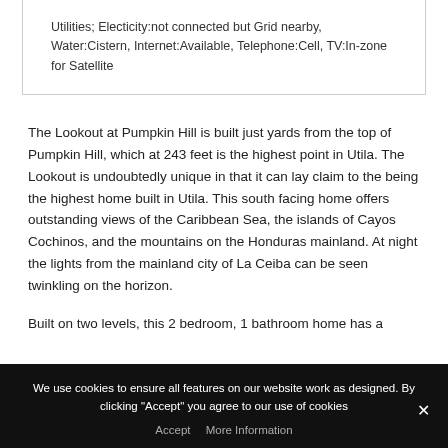Utilities; Electicity:not connected but Grid nearby, Water:Cistern, Internet:Available, Telephone:Cell, TV:In-zone for Satellite
The Lookout at Pumpkin Hill is built just yards from the top of Pumpkin Hill, which at 243 feet is the highest point in Utila. The Lookout is undoubtedly unique in that it can lay claim to the being the highest home built in Utila. This south facing home offers outstanding views of the Caribbean Sea, the islands of Cayos Cochinos, and the mountains on the Honduras mainland. At night the lights from the mainland city of La Ceiba can be seen twinkling on the horizon.
Built on two levels, this 2 bedroom, 1 bathroom home has a
We use cookies to ensure all features on our website work as designed. By clicking "Accept" you agree to our use of cookies